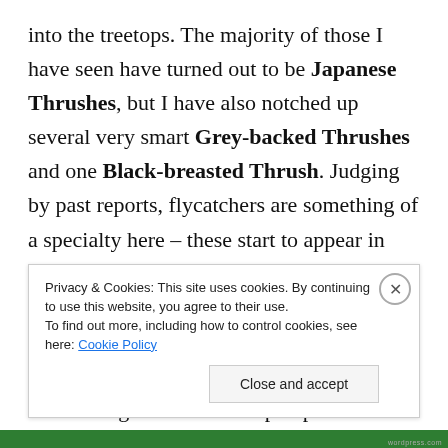into the treetops. The majority of those I have seen have turned out to be Japanese Thrushes, but I have also notched up several very smart Grey-backed Thrushes and one Black-breasted Thrush. Judging by past reports, flycatchers are something of a specialty here – these start to appear in mid-March, with several beautiful Blue-and-White Flycatchers during my last couple of visits as well as long-staying male Hainan Blue and Hill Blue Flycatchers. I'm looking forward to the prospect of encountering a wide variety of spring-
Privacy & Cookies: This site uses cookies. By continuing to use this website, you agree to their use.
To find out more, including how to control cookies, see here: Cookie Policy
Close and accept